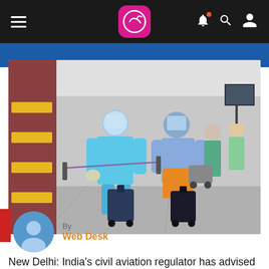Navigation bar with hamburger menu, logo, bell notification, search, and profile icons
[Figure (photo): Airport terminal scene with travelers wearing full PPE suits (blue hazmat-style coveralls and face shields) pulling luggage through a busy airport hall with signage and other masked passengers in background]
By
Web Desk
New Delhi: India's civil aviation regulator has advised airports to take precautions at national airports